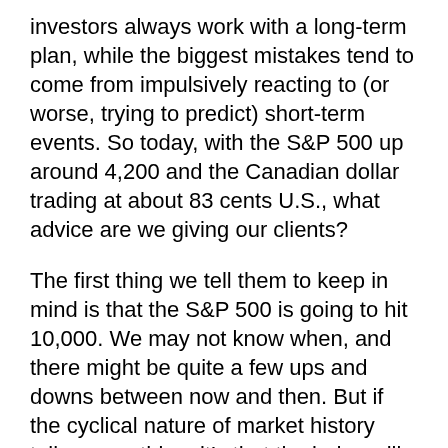investors always work with a long-term plan, while the biggest mistakes tend to come from impulsively reacting to (or worse, trying to predict) short-term events. So today, with the S&P 500 up around 4,200 and the Canadian dollar trading at about 83 cents U.S., what advice are we giving our clients?
The first thing we tell them to keep in mind is that the S&P 500 is going to hit 10,000. We may not know when, and there might be quite a few ups and downs between now and then. But if the cyclical nature of market history tells us anything, it’s that the index will eventually reach the 10,000-mark, and